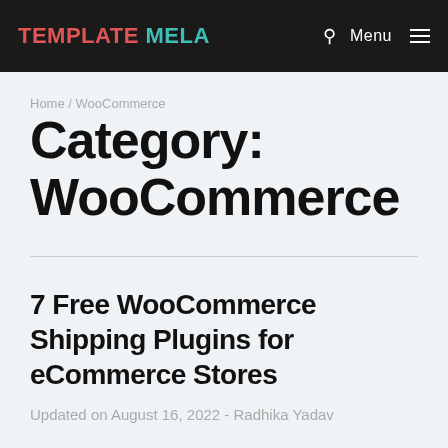Template Mela | Menu
Home / WooCommerce
Category: WooCommerce
7 Free WooCommerce Shipping Plugins for eCommerce Stores
Updated on August 16, 2022 - Radhika Yadav